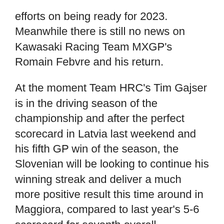efforts on being ready for 2023. Meanwhile there is still no news on Kawasaki Racing Team MXGP's Romain Febvre and his return.
At the moment Team HRC's Tim Gajser is in the driving season of the championship and after the perfect scorecard in Latvia last weekend and his fifth GP win of the season, the Slovenian will be looking to continue his winning streak and deliver a much more positive result this time around in Maggiora, compared to last year's 5-6 scorecard for seventh overall.
Gajser has previously won in Maggiora back in 2015 though this was in MX2, and he is yet to win in the MXGP category at the hillside venue. As it stands, Gajser says the heads of the stats are f...